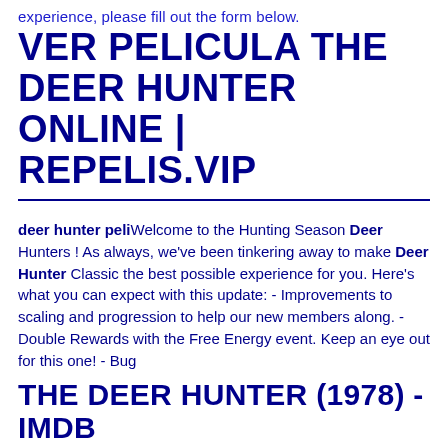experience, please fill out the form below.
VER PELICULA THE DEER HUNTER ONLINE | REPELIS.VIP
deer hunter peliWelcome to the Hunting Season Deer Hunters ! As always, we've been tinkering away to make Deer Hunter Classic the best possible experience for you. Here's what you can expect with this update: - Improvements to scaling and progression to help our new members along. - Double Rewards with the Free Energy event. Keep an eye out for this one! - Bug
THE DEER HUNTER (1978) - IMDB